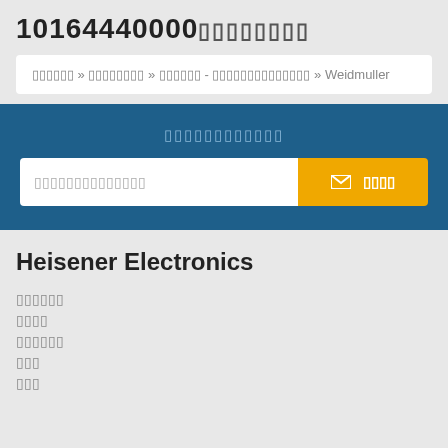10164440000▪▪▪▪▪▪▪▪
▪▪▪▪▪▪ » ▪▪▪▪▪▪▪▪ » ▪▪▪▪▪▪ - ▪▪▪▪▪▪▪▪▪▪▪▪▪▪ » Weidmuller
▪▪▪▪▪▪▪▪▪▪▪▪
▪▪▪▪▪▪▪▪▪▪▪▪▪▪  ✉ ▪▪▪▪
Heisener Electronics
▪▪▪▪▪▪
▪▪▪▪
▪▪▪▪▪▪
▪▪▪
▪▪▪